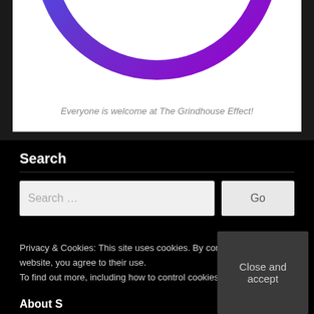[Figure (illustration): Partially visible circular ring logo with blue and purple gradient colors on a white card background with dark textured background around it]
Everyone is welcome at The Grindhouse Effect!
Search
Search …
Go
Privacy & Cookies: This site uses cookies. By conti… website, you agree to their use. To find out more, including how to control cookies…
Close and accept
About S